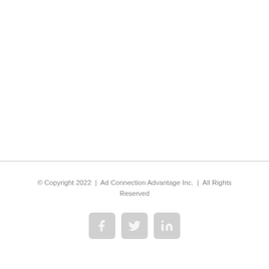© Copyright 2022  |  Ad Connection Advantage Inc.  |  All Rights Reserved
[Figure (other): Social media icon buttons for Facebook, Twitter, and LinkedIn arranged horizontally]